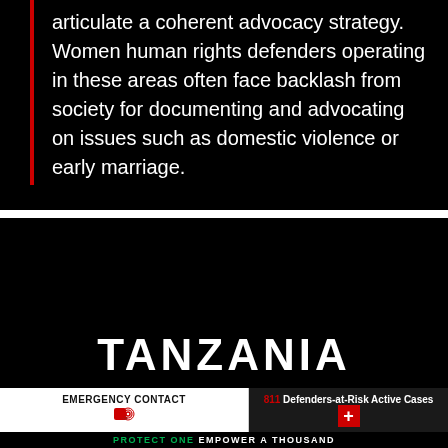articulate a coherent advocacy strategy. Women human rights defenders operating in these areas often face backlash from society for documenting and advocating on issues such as domestic violence or early marriage.
[Figure (photo): Black background section showing TANZANIA country label in large white bold text]
EMERGENCY CONTACT
811 Defenders-at-Risk Active Cases
PROTECT ONE EMPOWER A THOUSAND